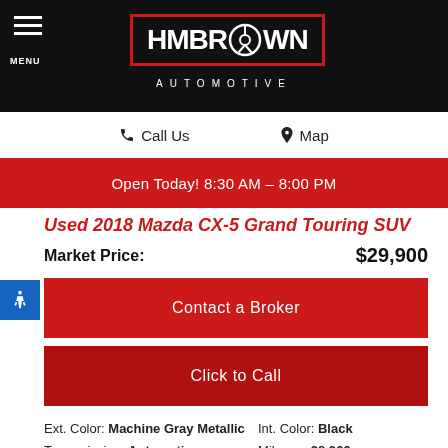[Figure (logo): HM BROWN AUTOMOTIVE logo with steering wheel icon inside red-bordered box on black background]
Call Us
Map
Open Today! 8:30 AM - 8:00 PM
Used 2018 Mazda CX-5 Grand Touring SUV
Market Price: $29,900
Contact a Broker
Click to Call
Ext. Color: Machine Gray Metallic
Transmission: Automatic
Stock: 22B52184
Engine: 4 Cylinders
VIN JM3KFBDM1J0407429
Int. Color: Black
Mileage: 28,966
Drivetrain: AWD